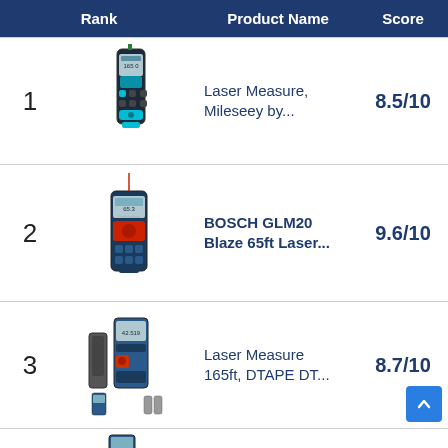| Rank | Product Name | Score |
| --- | --- | --- |
| 1 | Laser Measure, Mileseey by... | 8.5/10 |
| 2 | BOSCH GLM20 Blaze 65ft Laser... | 9.6/10 |
| 3 | Laser Measure 165ft, DTAPE DT... | 8.7/10 |
| 4 |  |  |